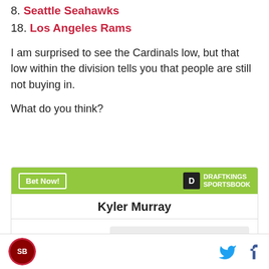8. Seattle Seahawks
18. Los Angeles Rams
I am surprised to see the Cardinals low, but that low within the division tells you that people are still not buying in.
What do you think?
[Figure (infographic): DraftKings Sportsbook betting widget for Kyler Murray to win MVP at +2000 odds]
Footer bar with site logo, Twitter icon, and Facebook icon